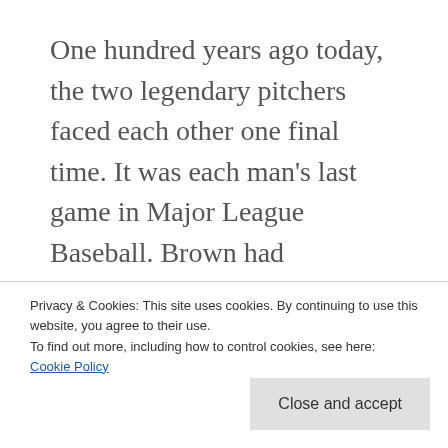One hundred years ago today, the two legendary pitchers faced each other one final time. It was each man's last game in Major League Baseball. Brown had announced his retirement (he continued pitching in the minor leagues into his 40s, though) and Mathewson had taken a new job: after 15-plus seasons pitching for the New York Giants, the Giants manager John
Privacy & Cookies: This site uses cookies. By continuing to use this website, you agree to their use.
To find out more, including how to control cookies, see here: Cookie Policy
Close and accept